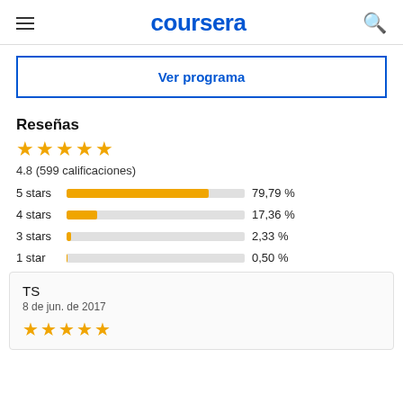coursera
Ver programa
Reseñas
4.8 (599 calificaciones)
[Figure (bar-chart): Star ratings]
TS
8 de jun. de 2017